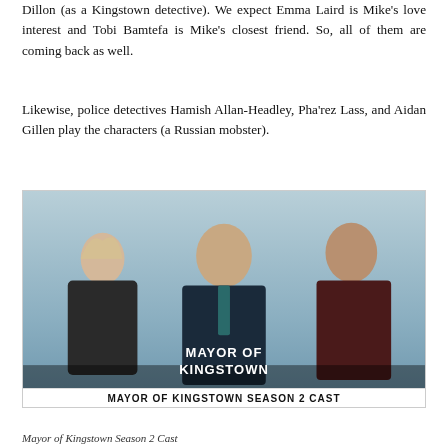Dillon (as a Kingstown detective). We expect Emma Laird is Mike's love interest and Tobi Bamtefa is Mike's closest friend. So, all of them are coming back as well.
Likewise, police detectives Hamish Allan-Headley, Pha'rez Lass, and Aidan Gillen play the characters (a Russian mobster).
[Figure (photo): Promotional cast photo for Mayor of Kingstown Season 2 showing three cast members against a blue-grey sky background. Text overlay reads 'MAYOR OF KINGSTOWN'. Bottom banner reads 'MAYOR OF KINGSTOWN SEASON 2 CAST'.]
Mayor of Kingstown Season 2 Cast